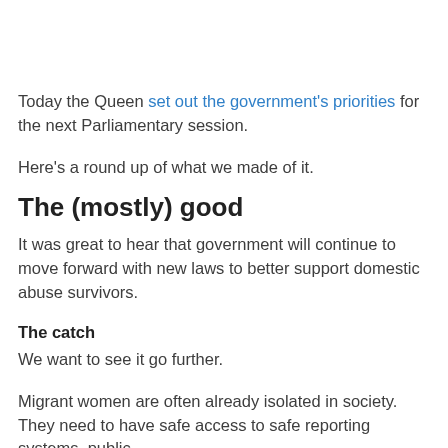Today the Queen set out the government's priorities for the next Parliamentary session.
Here's a round up of what we made of it.
The (mostly) good
It was great to hear that government will continue to move forward with new laws to better support domestic abuse survivors.
The catch
We want to see it go further.
Migrant women are often already isolated in society. They need to have safe access to safe reporting systems, public